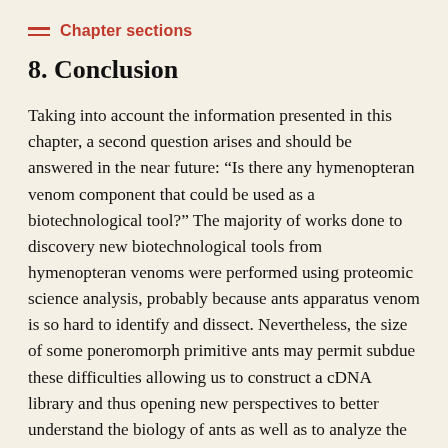Chapter sections
8. Conclusion
Taking into account the information presented in this chapter, a second question arises and should be answered in the near future: “Is there any hymenopteran venom component that could be used as a biotechnological tool?” The majority of works done to discovery new biotechnological tools from hymenopteran venoms were performed using proteomic science analysis, probably because ants apparatus venom is so hard to identify and dissect. Nevertheless, the size of some poneromorph primitive ants may permit subdue these difficulties allowing us to construct a cDNA library and thus opening new perspectives to better understand the biology of ants as well as to analyze the properties of the venom in the search for new molecules with